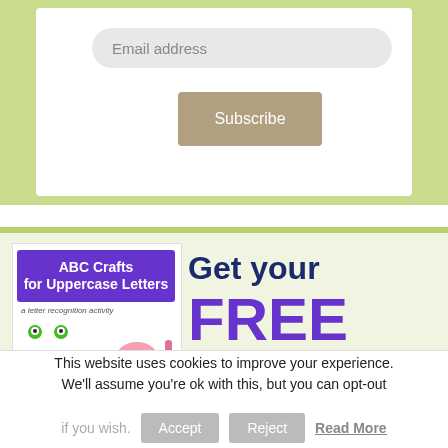Email address
Subscribe
[Figure (illustration): ABC Crafts for Uppercase Letters book cover with cartoon frog letter A, yellow duck, pink jellyfish, and pink flamingo/stick illustrations]
Get your FREE
This website uses cookies to improve your experience. We'll assume you're ok with this, but you can opt-out if you wish.
Accept
Reject
Read More